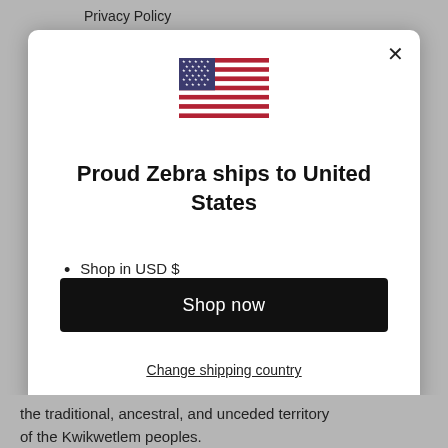Privacy Policy
[Figure (illustration): US flag emoji/icon centered in modal]
Proud Zebra ships to United States
Shop in USD $
Get shipping options for United States
Shop now
Change shipping country
the traditional, ancestral, and unceded territory of the Kwikwetlem peoples.